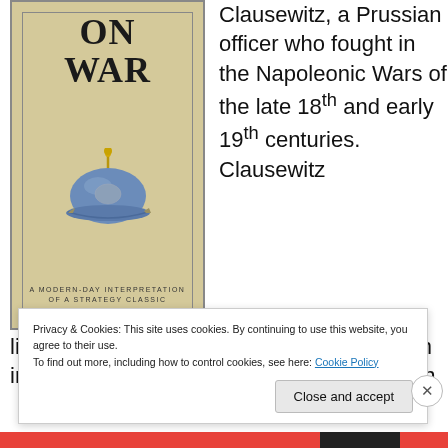[Figure (illustration): Book cover of 'On War' showing a Prussian military helmet (Pickelhaube) on a beige/tan textured background. Subtitle reads 'A Modern-Day Interpretation of a Strategy Classic by Andrew Holmes'. The cover has a decorative border.]
Clausewitz, a Prussian officer who fought in the Napoleonic Wars of the late 18th and early 19th centuries. Clausewitz lived during the Enlightenment, a European intellectual movement which hoped to wean
Privacy & Cookies: This site uses cookies. By continuing to use this website, you agree to their use.
To find out more, including how to control cookies, see here: Cookie Policy
Close and accept